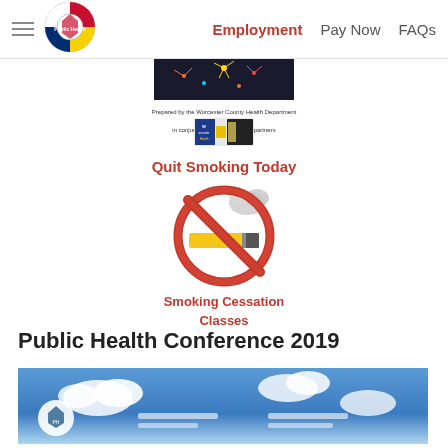Employment  Pay Now  FAQs
[Figure (photo): Fireworks image banner at top of page]
Prepared by the Worcester County Health Department in conjunction with community partners
[Figure (logo): Worcester Health badge/logo]
Quit Smoking Today
[Figure (illustration): No smoking symbol: red circle with diagonal slash over a cigarette with smoke]
Smoking Cessation Classes
Public Health Conference 2019
[Figure (photo): Public Health Conference 2019 banner image with clouds and sky background]